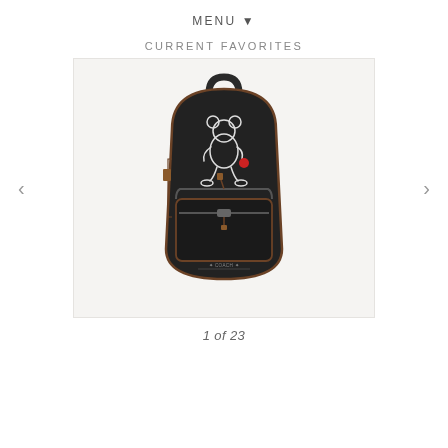MENU ▾
CURRENT FAVORITES
[Figure (photo): A black leather Coach x Mickey Mouse mini backpack with Mickey Mouse embroidery on the front, zipper front pocket, brown trim, and Coach logo medallion. Displayed on white background.]
1 of 23